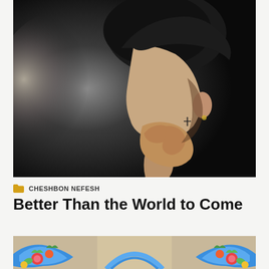[Figure (photo): A young man with bowed head, hands clasped together in prayer, photographed from the side against a dark dramatic background with soft light.]
CHESHBON NEFESH
Better Than the World to Come
[Figure (illustration): Colorful illustrated decorative banner with blue scrollwork, flowers, and foliage in vibrant colors on a beige background, partially visible at the bottom of the page.]